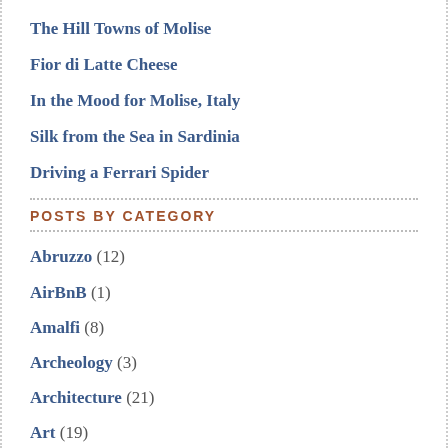The Hill Towns of Molise
Fior di Latte Cheese
In the Mood for Molise, Italy
Silk from the Sea in Sardinia
Driving a Ferrari Spider
POSTS BY CATEGORY
Abruzzo (12)
AirBnB (1)
Amalfi (8)
Archeology (3)
Architecture (21)
Art (19)
Artisans (4)